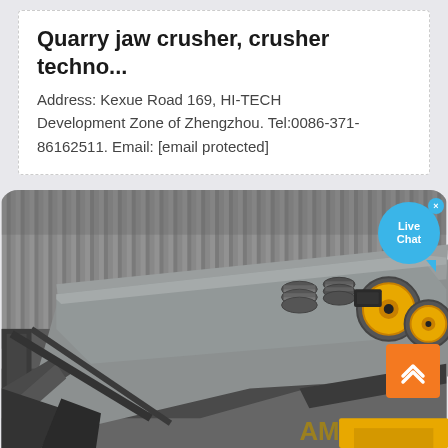Quarry jaw crusher, crusher techno...
Address: Kexue Road 169, HI-TECH Development Zone of Zhengzhou. Tel:0086-371-86162511. Email: [email protected]
[Figure (photo): Industrial quarry jaw crusher machinery photographed inside a large warehouse/industrial facility. The large grey metal crushing machine is shown at an angle with springs, yellow components, and black mechanical parts visible. Yellow construction equipment is partially visible at the bottom right. A Live Chat bubble UI overlay appears in the top right corner, and an orange back-to-top button appears at the bottom right.]